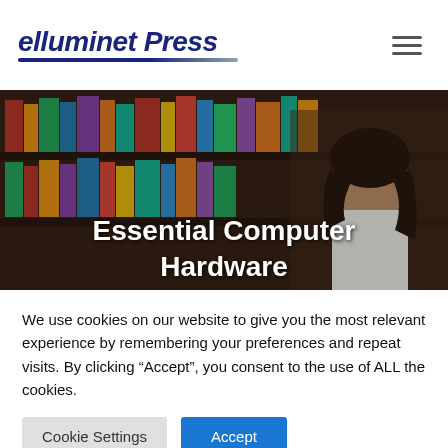elluminet Press
[Figure (photo): Woman browsing books in a library with colorful books on wooden shelves in the background. Overlay text reads 'Essential Computer Hardware'.]
Essential Computer Hardware
We use cookies on our website to give you the most relevant experience by remembering your preferences and repeat visits. By clicking “Accept”, you consent to the use of ALL the cookies.
Cookie Settings | Accept